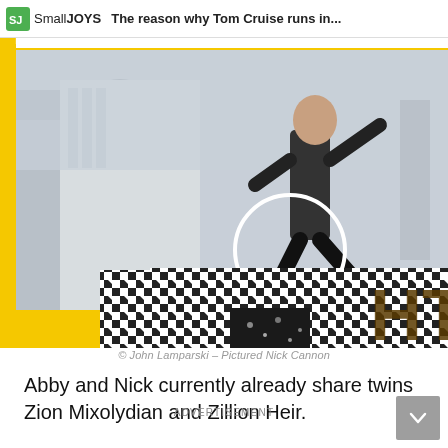[Figure (screenshot): SmallJoys advertisement banner showing Tom Cruise running, overlaid on a photo of a yellow-background event with a person in a black-and-white houndstooth patterned outfit. The SmallJoys banner at top reads 'The reason why Tom Cruise runs in...' with a Tom Cruise action still below it showing him leaping on a rooftop with a white circle highlight on his legs.]
© John Lamparski – Pictured Nick Cannon
Abby and Nick currently already share twins Zion Mixolydian and Zillion Heir.
ADVERTISEMENT